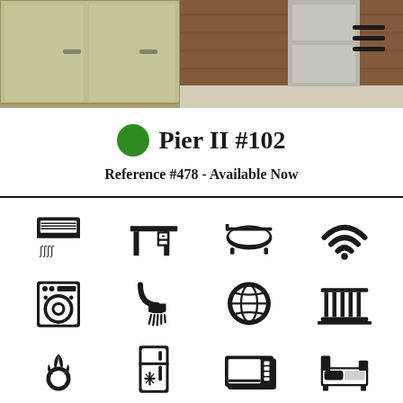[Figure (photo): Kitchen photo header showing cabinets and countertop]
Pier II #102
Reference #478 - Available Now
[Figure (infographic): Grid of amenity icons: air conditioning, desk, bathtub, wifi, washing machine, shower, internet/globe, balcony, gas stove, refrigerator, microwave, bed]